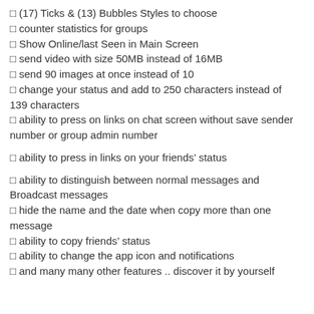✓ (17) Ticks & (13) Bubbles Styles to choose
✓ counter statistics for groups
✓ Show Online/last Seen in Main Screen
✓ send video with size 50MB instead of 16MB
✓ send 90 images at once instead of 10
✓ change your status and add to 250 characters instead of 139 characters
✓ ability to press on links on chat screen without save sender number or group admin number
✓ ability to press in links on your friends' status
✓ ability to distinguish between normal messages and Broadcast messages
✓ hide the name and the date when copy more than one message
✓ ability to copy friends' status
✓ ability to change the app icon and notifications
✓ and many many other features .. discover it by yourself